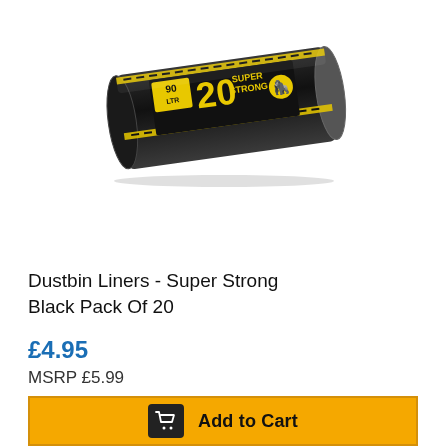[Figure (photo): A roll of black dustbin liner bags with a yellow and black label showing '20 SUPER STRONG' and '90 LTR']
Dustbin Liners - Super Strong Black Pack Of 20
£4.95
MSRP £5.99
Add to Cart